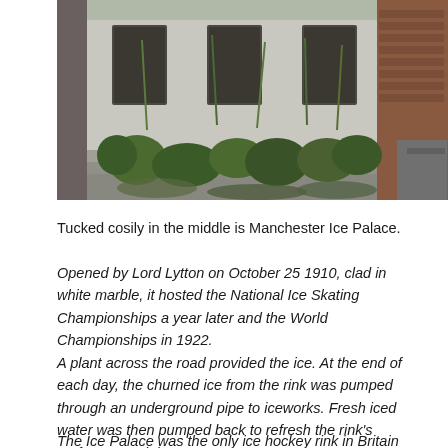[Figure (photo): Photograph of an abandoned building exterior with overgrown vegetation, weeds, and plants covering the front steps and facade. The building has white-painted walls with deteriorating windows and brick visible on the right side.]
Tucked cosily in the middle is Manchester Ice Palace.
Opened by Lord Lytton on October 25 1910, clad in white marble, it hosted the National Ice Skating Championships a year later and the World Championships in 1922.
A plant across the road provided the ice. At the end of each day, the churned ice from the rink was pumped through an underground pipe to iceworks. Fresh iced water was then pumped back to refresh the rink's surface overnight.
The Ice Palace was the only ice hockey rink in Britain during